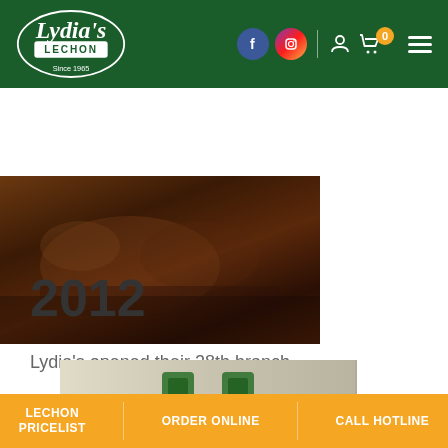Lydia's Lechon - header navigation
[Figure (photo): Vintage sepia-toned photo of lechon roasting, dark background with cooking equipment]
2012
Lydia's opened their 28th branch
[Figure (photo): Partial bottom image showing products or store display]
LECHON PRICELIST | ORDER ONLINE | CALL HOTLINE